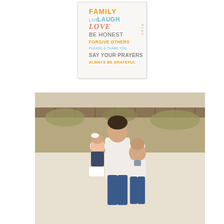[Figure (illustration): Decorative family rules poster with colorful typography on light background. Text reads: FAMILY, LIVE LAUGH, LOVE, BE HONEST, PLAY (vertical), FORGIVE OTHERS, PLEASE & THANK YOU, SAY YOUR PRAYERS, ALWAYS BE GRATEFUL]
[Figure (photo): Outdoor beach photo of a man with two young children (a girl with a white bow and a boy) standing on white sand in front of beach dunes and wooden fence. All wearing white shirts.]